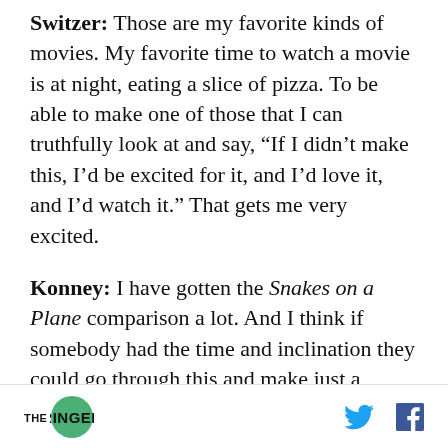Switzer: Those are my favorite kinds of movies. My favorite time to watch a movie is at night, eating a slice of pizza. To be able to make one of those that I can truthfully look at and say, “If I didn’t make this, I’d be excited for it, and I’d love it, and I’d watch it.” That gets me very excited.
Konney: I have gotten the Snakes on a Plane comparison a lot. And I think if somebody had the time and inclination they could go through this and make just a cornucopia of GIFs.
Joey Lawrence: I think if Andy had his say, it
THE RINGER